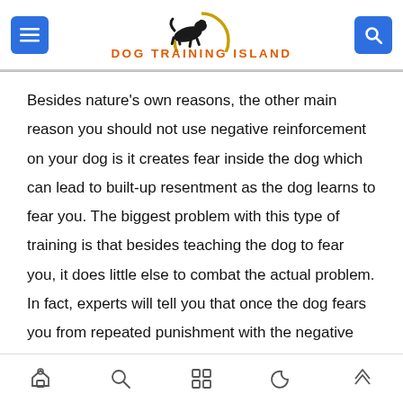Dog Training Island
Besides nature's own reasons, the other main reason you should not use negative reinforcement on your dog is it creates fear inside the dog which can lead to built-up resentment as the dog learns to fear you. The biggest problem with this type of training is that besides teaching the dog to fear you, it does little else to combat the actual problem. In fact, experts will tell you that once the dog fears you from repeated punishment with the negative reinforcement ideology, the dog will continue to act with
Navigation icons: home, search, grid, moon, up-arrow